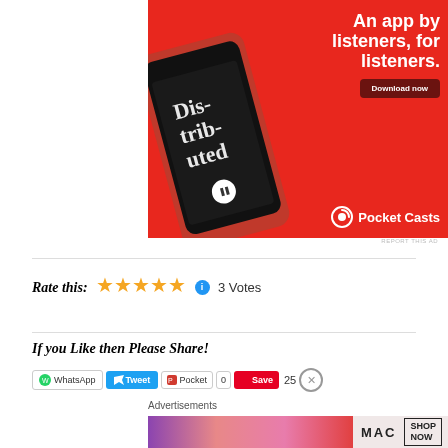[Figure (photo): Pocket Casts advertisement: red background with smartphone showing podcast app interface. Text reads 'An app by listeners, for listeners.' with a 'Download now' button and Pocket Casts logo.]
REPORT THIS AD
Rate this: ★★★★★ ℹ 3 Votes
If you Like then Please Share!
WhatsApp  Tweet  Pocket  0  Save  25  ✕
Advertisements
[Figure (photo): MAC cosmetics advertisement showing lipsticks with SHOP NOW text]